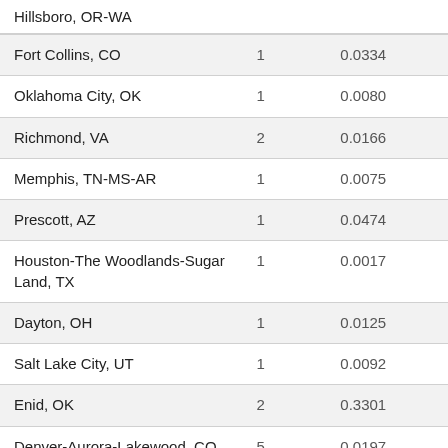Hillsboro, OR-WA
| Fort Collins, CO | 1 | 0.0334 |
| Oklahoma City, OK | 1 | 0.0080 |
| Richmond, VA | 2 | 0.0166 |
| Memphis, TN-MS-AR | 1 | 0.0075 |
| Prescott, AZ | 1 | 0.0474 |
| Houston-The Woodlands-Sugar Land, TX | 1 | 0.0017 |
| Dayton, OH | 1 | 0.0125 |
| Salt Lake City, UT | 1 | 0.0092 |
| Enid, OK | 2 | 0.3301 |
| Denver-Aurora-Lakewood, CO | 5 | 0.0197 |
| Baltimore-Columbia- | 3 | 0.0111 |